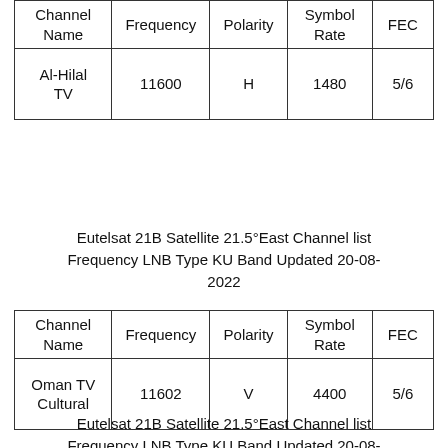| Channel Name | Frequency | Polarity | Symbol Rate | FEC |
| --- | --- | --- | --- | --- |
| Al-Hilal TV | 11600 | H | 1480 | 5/6 |
Eutelsat 21B Satellite 21.5°East Channel list Frequency LNB Type KU Band Updated 20-08-2022
| Channel Name | Frequency | Polarity | Symbol Rate | FEC |
| --- | --- | --- | --- | --- |
| Oman TV Cultural | 11602 | V | 4400 | 5/6 |
Eutelsat 21B Satellite 21.5°East Channel list Frequency LNB Type KU Band Updated 20-08-